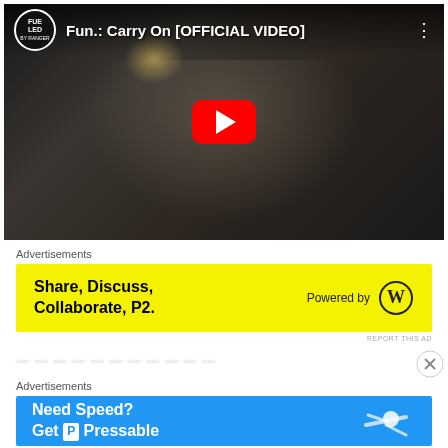[Figure (screenshot): YouTube video thumbnail showing Fun.: Carry On [OFFICIAL VIDEO] with a play button overlay. Channel logo in top left, video title in top bar, dark cinematic still frame of a young man looking upward.]
Advertisements
[Figure (screenshot): Yellow advertisement banner: 'Share, Discuss, Collaborate, P2.' with 'Powered by' WordPress logo on right.]
REPORT THIS AD
...blurred partial text...
Advertisements
[Figure (screenshot): Blue advertisement banner: 'Need Speed? Get P Pressable' with a skydiver illustration on right side.]
REPORT THIS AD